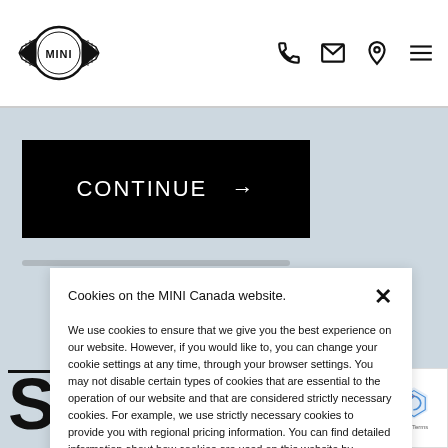MINI logo with navigation icons: phone, email, location, menu
CONTINUE →
Cookies on the MINI Canada website.

We use cookies to ensure that we give you the best experience on our website. However, if you would like to, you can change your cookie settings at any time, through your browser settings. You may not disable certain types of cookies that are essential to the operation of our website and that are considered strictly necessary cookies. For example, we use strictly necessary cookies to provide you with regional pricing information. You can find detailed information about how cookies are used on this website by clicking here.
SE